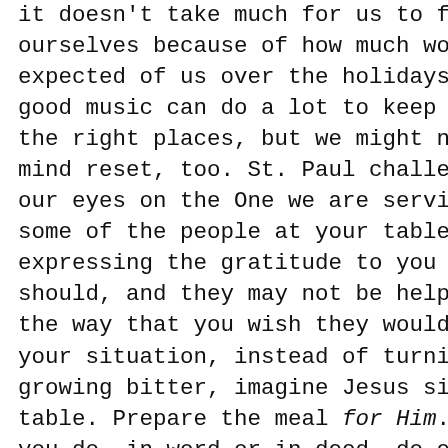it doesn't take much for us to feel sorry for ourselves because of how much work is expected of us over the holidays. Listening to good music can do a lot to keep our hearts in the right places, but we might need a little mind reset, too. St. Paul challenges us to keep our eyes on the One we are serving. Sure, some of the people at your table might not be expressing the gratitude to you that they should, and they may not be helping you in the way that you wish they would. If this is your situation, instead of turning inward and growing bitter, imagine Jesus sitting at your table. Prepare the meal for Him. "And whatever you do, in word or in deed, do everything in the name of the Lord Jesus, giving thanks